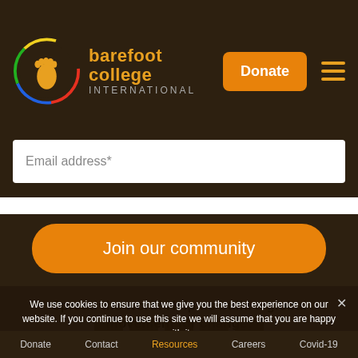[Figure (logo): Barefoot College International logo: circular logo with a foot inside and colored rings (red, blue, green, yellow), with text 'barefoot college INTERNATIONAL' in orange/grey]
Email address*
Join our community
Spread the word! Help us build a global movement for change:
We use cookies to ensure that we give you the best experience on our website. If you continue to use this site we will assume that you are happy with it.
AGREE  No
Donate   Contact   Resources   Careers   Covid-19